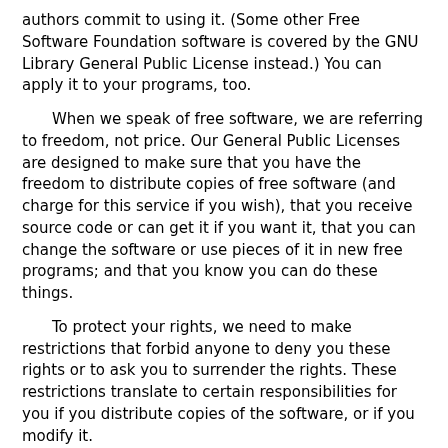authors commit to using it. (Some other Free Software Foundation software is covered by the GNU Library General Public License instead.) You can apply it to your programs, too.
When we speak of free software, we are referring to freedom, not price. Our General Public Licenses are designed to make sure that you have the freedom to distribute copies of free software (and charge for this service if you wish), that you receive source code or can get it if you want it, that you can change the software or use pieces of it in new free programs; and that you know you can do these things.
To protect your rights, we need to make restrictions that forbid anyone to deny you these rights or to ask you to surrender the rights. These restrictions translate to certain responsibilities for you if you distribute copies of the software, or if you modify it.
For example, if you distribute copies of such a program, whether gratis or for a fee, you must give the recipients all the rights that you have. You must make sure that they, too, receive or can get the source code. And you must show them these terms so they know their rights.